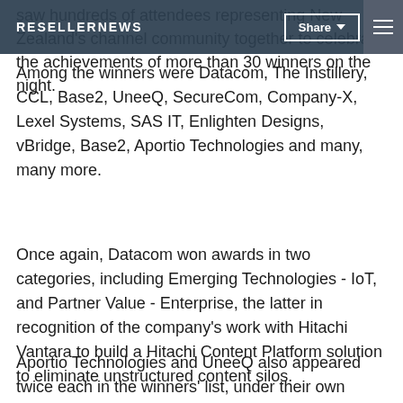saw hundreds of attendees representing New Zealand's channel community together to celebrate the achievements of more than 30 winners on the night.
RESELLERNEWS | Share | Menu
Among the winners were Datacom, The Instillery, CCL, Base2, UneeQ, SecureCom, Company-X, Lexel Systems, SAS IT, Enlighten Designs, vBridge, Base2, Aportio Technologies and many, many more.
Once again, Datacom won awards in two categories, including Emerging Technologies - IoT, and Partner Value - Enterprise, the latter in recognition of the company's work with Hitachi Vantara to build a Hitachi Content Platform solution to eliminate unstructured content silos.
Aportio Technologies and UneeQ also appeared twice each in the winners' list, under their own names in the